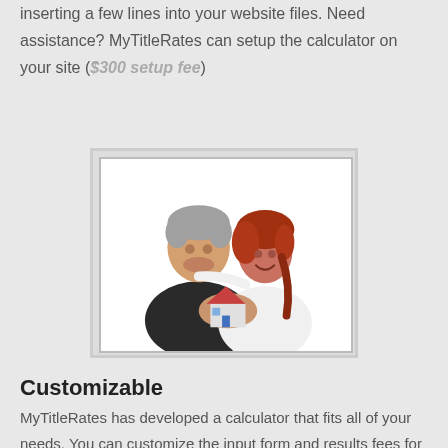inserting a few lines into your website files. Need assistance? MyTitleRates can setup the calculator on your site ($300 setup fee)
[Figure (photo): A middle-aged couple smiling and holding a small model house, suggesting home ownership or real estate services.]
Customizable
MyTitleRates has developed a calculator that fits all of your needs. You can customize the input form and results fees for your customers.